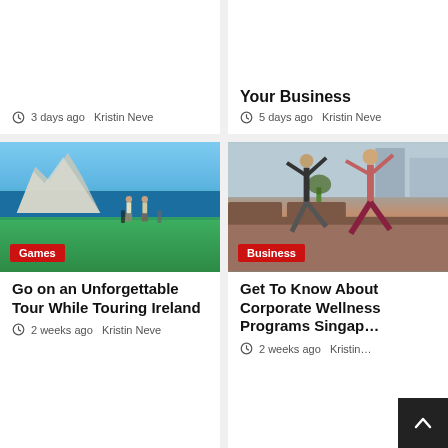3 days ago  Kristin Neve
Your Business
5 days ago  Kristin Neve
[Figure (photo): Golfers on a coastal golf course with cliffs and sea in background, green grass foreground. Category badge: Games]
[Figure (photo): Two women doing yoga/warrior pose outdoors on a rooftop or terrace. Category badge: Business]
Go on an Unforgettable Tour While Touring Ireland
2 weeks ago  Kristin Neve
Get To Know About Corporate Wellness Programs Singap…
2 weeks ago  Kristin…